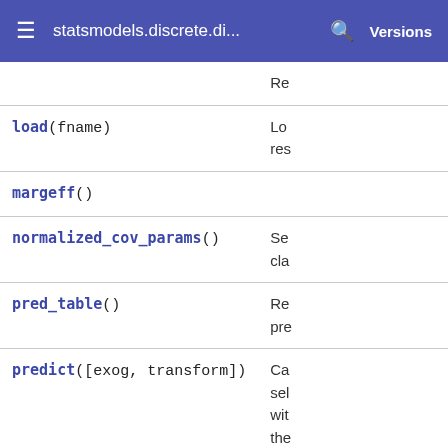statsmodels.discrete.di... Versions
| Method | Description |
| --- | --- |
|  | Re |
| load(fname) | Lo
res |
| margeff() |  |
| normalized_cov_params() | Se
cla |
| pred_table() | Re
pre |
| predict([exog, transform]) | Ca
sel
wit
the |
| remove_data() | Re
all
res |